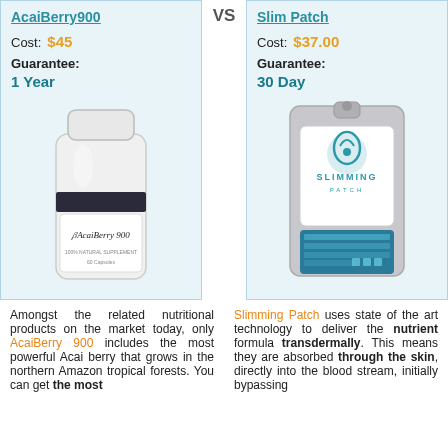AcaiBerry900
VS
Slim Patch
Cost: $45
Cost: $37.00
Guarantee: 1 Year
Guarantee: 30 Day
[Figure (photo): AcaiBerry 900 supplement bottle, white with dark band and script logo]
[Figure (photo): Slim Patch / Slimming Patch product packaging, silver pouch with teal logo]
Amongst the related nutritional products on the market today, only AcaiBerry 900 includes the most powerful Acai berry that grows in the northern Amazon tropical forests. You can get the most
Slimming Patch uses state of the art technology to deliver the nutrient formula transdermally. This means they are absorbed through the skin, directly into the blood stream, initially bypassing the digestive and metabolic